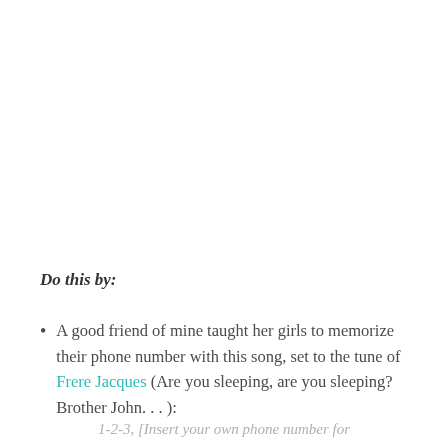Do this by:
A good friend of mine taught her girls to memorize their phone number with this song, set to the tune of Frere Jacques (Are you sleeping, are you sleeping? Brother John. . . ):
1-2-3, [Insert your own phone number for